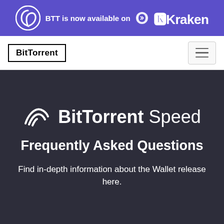BTT is now available on Kraken
[Figure (logo): BitTorrent logo in header navigation bar]
BitTorrent Speed
Frequently Asked Questions
Find in-depth information about the Wallet release here.